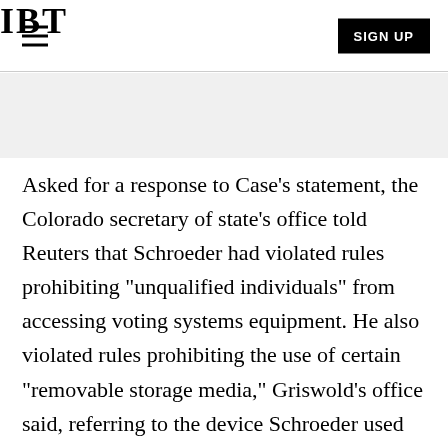IBT | SIGN UP
Asked for a response to Case's statement, the Colorado secretary of state's office told Reuters that Schroeder had violated rules prohibiting "unqualified individuals" from accessing voting systems equipment. He also violated rules prohibiting the use of certain "removable storage media," Griswold's office said, referring to the device Schroeder used to image the systems.